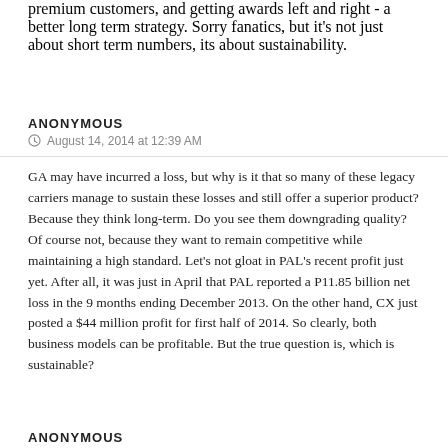premium customers, and getting awards left and right - a better long term strategy. Sorry fanatics, but it's not just about short term numbers, its about sustainability.
ANONYMOUS
⊙ August 14, 2014 at 12:39 AM
GA may have incurred a loss, but why is it that so many of these legacy carriers manage to sustain these losses and still offer a superior product? Because they think long-term. Do you see them downgrading quality? Of course not, because they want to remain competitive while maintaining a high standard. Let's not gloat in PAL's recent profit just yet. After all, it was just in April that PAL reported a P11.85 billion net loss in the 9 months ending December 2013. On the other hand, CX just posted a $44 million profit for first half of 2014. So clearly, both business models can be profitable. But the true question is, which is sustainable?
ANONYMOUS
⊙ August 14, 2014 at 3:24 AM